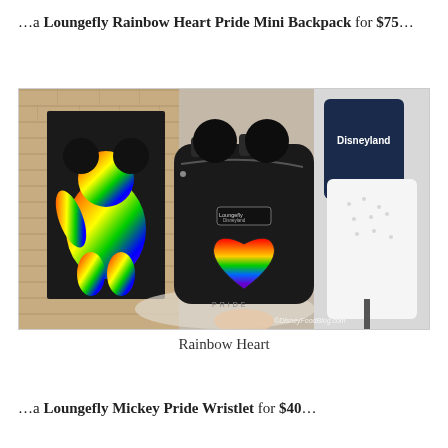…a Loungefly Rainbow Heart Pride Mini Backpack for $75…
[Figure (photo): A Loungefly Rainbow Heart Pride Mini Backpack displayed in a store setting. The black backpack has Mickey Mouse ears on top and a large rainbow gradient heart on the front. In the background there is a Mickey Mouse rainbow artwork on a dark canvas, and a white shirt with small patterns on a mannequin. Watermark reads ©DisneyFoodBlog.com.]
Rainbow Heart
…a Loungefly Mickey Pride Wristlet for $40…